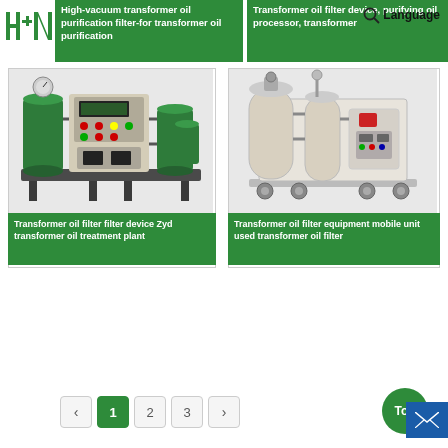[Figure (screenshot): Website header with logo (H+N HOMAG) and two green product card tiles at the top: 'High-vacuum transformer oil purification filter-for transformer oil purification' and 'Transformer oil filter device, purifying oil processor, transformer'. A search icon and Language button are visible.]
[Figure (photo): Green industrial transformer oil filter machine with control panel, gauges, and cylindrical components.]
Transformer oil filter filter device Zyd transformer oil treatment plant
[Figure (photo): White mobile transformer oil filter equipment unit on wheels with red and other colored components.]
Transformer oil filter equipment mobile unit used transformer oil filter
Pagination: ‹ 1 2 3 › with page 1 active. Top button and mail button visible.